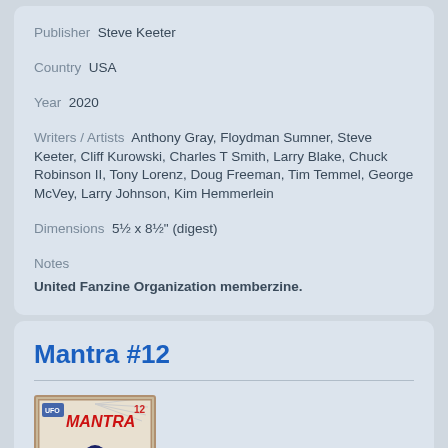Publisher  Steve Keeter
Country  USA
Year  2020
Writers / Artists  Anthony Gray, Floydman Sumner, Steve Keeter, Cliff Kurowski, Charles T Smith, Larry Blake, Chuck Robinson II, Tony Lorenz, Doug Freeman, Tim Temmel, George McVey, Larry Johnson, Kim Hemmerlein
Dimensions  5½ x 8½" (digest)
Notes
United Fanzine Organization memberzine.
Mantra #12
[Figure (photo): Comic book cover of Mantra #12 showing superhero characters with UFO logo at top left and number 12 at top right]